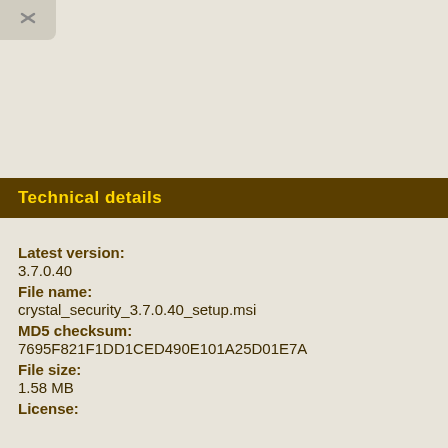[Figure (other): Close/collapse button (X icon) in top-left corner]
Technical details
Latest version:
3.7.0.40
File name:
crystal_security_3.7.0.40_setup.msi
MD5 checksum:
7695F821F1DD1CED490E101A25D01E7A
File size:
1.58 MB
License: